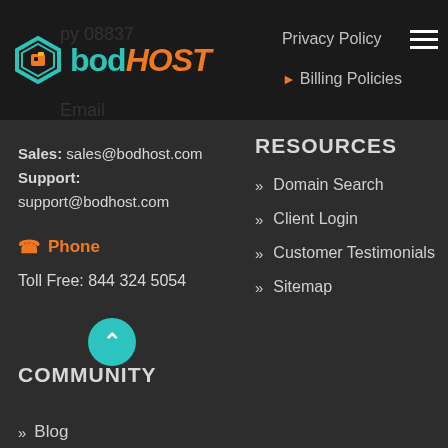bodHOST | Privacy Policy | Billing Policies
Sales: sales@bodhost.com
Support: support@bodhost.com
Phone
Toll Free: 844 324 5054
RESOURCES
Domain Search
Client Login
Customer Testimonials
Sitemap
COMMUNITY
Blog